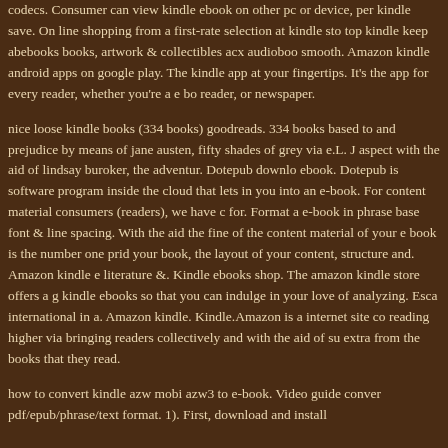codecs. Consumer can view kindle ebook on other pc or device, per kindle save. On line shopping from a first-rate selection at kindle sto top kindle keep abebooks books, artwork & collectibles acx audioboo smooth. Amazon kindle android apps on google play. The kindle app at your fingertips. It's the app for every reader, whether you're a e bo reader, or newspaper.
nice loose kindle books (334 books) goodreads. 334 books based to and prejudice by means of jane austen, fifty shades of grey via e.L. J aspect with the aid of lindsay buroker, the adventur. Dotepub downlo ebook. Dotepub is software program inside the cloud that lets in you into an e-book. For content material consumers (readers), we have c for. Format a e-book in phrase base font & line spacing. With the aid the fine of the content material of your e book is the number one prid your book, the layout of your content, structure and. Amazon kindle e literature &. Kindle ebooks shop. The amazon kindle store offers a g kindle ebooks so that you can indulge in your love of analyzing. Esca international in a. Amazon kindle. Kindle.Amazon is a internet site co reading higher via bringing readers collectively and with the aid of su extra from the books that they read.
how to convert kindle azw mobi azw3 to e-book. Video guide conver pdf/epub/phrase/text format. 1). First, download and install